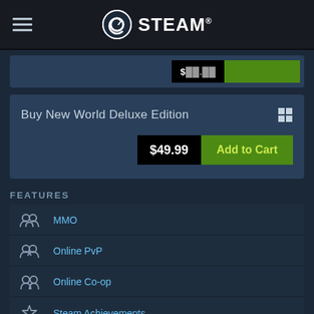STEAM
[Figure (screenshot): Partially visible product card with price and green Add to Cart button]
Buy New World Deluxe Edition — $49.99 — Add to Cart
FEATURES
MMO
Online PvP
Online Co-op
Steam Achievements
In-App Purchases